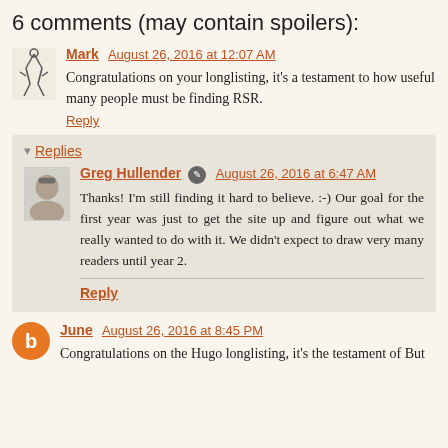6 comments (may contain spoilers):
Mark  August 26, 2016 at 12:07 AM
Congratulations on your longlisting, it's a testament to how useful many people must be finding RSR.
Reply
Replies
Greg Hullender  August 26, 2016 at 6:47 AM
Thanks! I'm still finding it hard to believe. :-) Our goal for the first year was just to get the site up and figure out what we really wanted to do with it. We didn't expect to draw very many readers until year 2.
Reply
June  August 26, 2016 at 8:45 PM
Congratulations on the Hugo longlisting, it's the testament of But